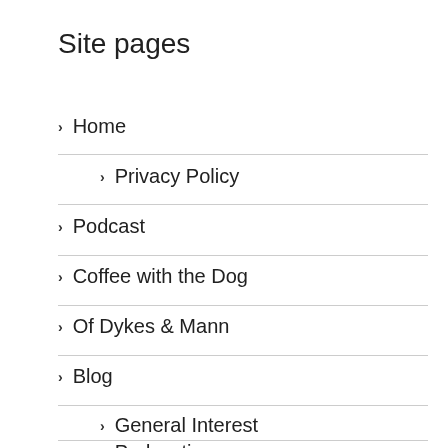Site pages
Home
Privacy Policy
Podcast
Coffee with the Dog
Of Dykes & Mann
Blog
General Interest
Podcasting